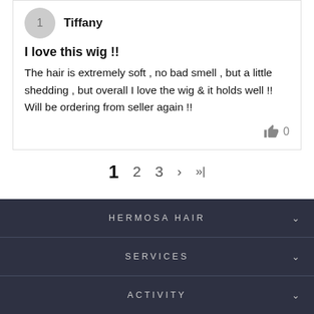Tiffany
I love this wig !!
The hair is extremely soft , no bad smell , but a little shedding , but overall I love the wig & it holds well !! Will be ordering from seller again !!
0
1  2  3  >  >|
HERMOSA HAIR
SERVICES
ACTIVITY